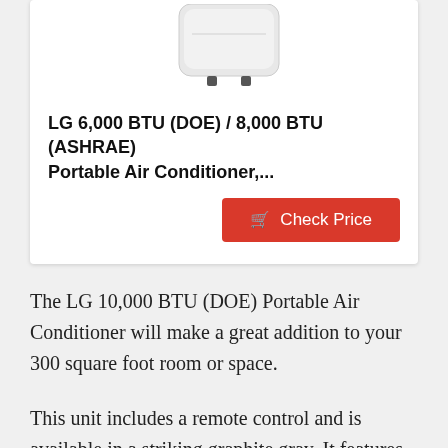[Figure (photo): LG portable air conditioner unit, white/light gray color, shown cropped at top of card]
LG 6,000 BTU (DOE) / 8,000 BTU (ASHRAE) Portable Air Conditioner,...
Check Price
The LG 10,000 BTU (DOE) Portable Air Conditioner will make a great addition to your 300 square foot room or space.
This unit includes a remote control and is available in a striking graphite gray. It features an automatic evaporation system and uses a standard 6 foot long 115-volt power outlet. This air conditioner operates between 7000 and 12000 BTU. It can cool a room up to